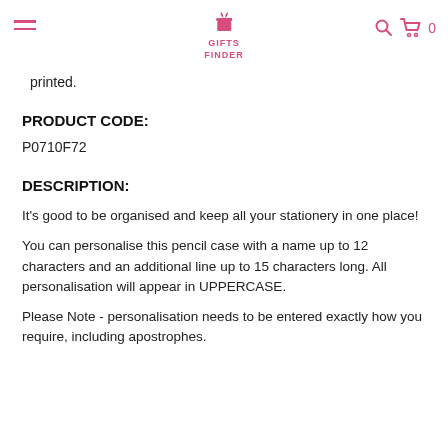GIFTS FINDER
printed.
PRODUCT CODE:
P0710F72
DESCRIPTION:
It's good to be organised and keep all your stationery in one place!
You can personalise this pencil case with a name up to 12 characters and an additional line up to 15 characters long. All personalisation will appear in UPPERCASE.
Please Note - personalisation needs to be entered exactly how you require, including apostrophes.